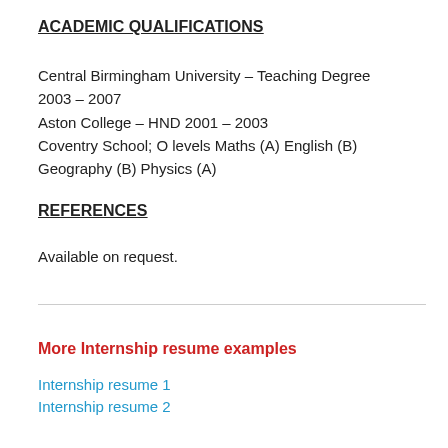ACADEMIC QUALIFICATIONS
Central Birmingham University – Teaching Degree 2003 – 2007
Aston College – HND 2001 – 2003
Coventry School; O levels Maths (A) English (B) Geography (B) Physics (A)
REFERENCES
Available on request.
More Internship resume examples
Internship resume 1
Internship resume 2